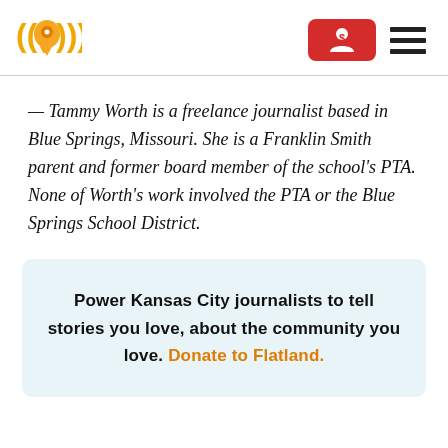[Figure (logo): Flatland / local news logo: orange map pin with signal waves, in orange/yellow tones]
[Figure (other): Red rounded rectangle button with a white person/dollar icon (donate button)]
[Figure (other): Hamburger menu icon: three thick horizontal black lines]
— Tammy Worth is a freelance journalist based in Blue Springs, Missouri. She is a Franklin Smith parent and former board member of the school's PTA. None of Worth's work involved the PTA or the Blue Springs School District.
Power Kansas City journalists to tell stories you love, about the community you love. Donate to Flatland.